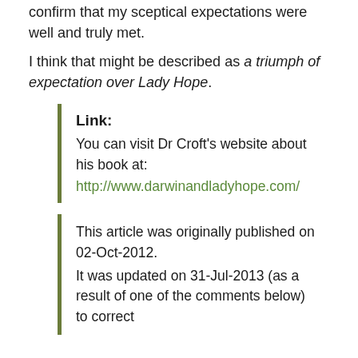confirm that my sceptical expectations were well and truly met.
I think that might be described as a triumph of expectation over Lady Hope.
Link:
You can visit Dr Croft's website about his book at:
http://www.darwinandladyhope.com/
This article was originally published on 02-Oct-2012.
It was updated on 31-Jul-2013 (as a result of one of the comments below) to correct